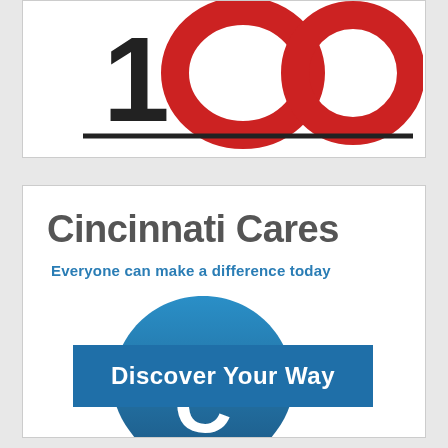[Figure (logo): Partial logo — large stylized text '100' with black '1' and red double-loop '00' on white background, with black horizontal line beneath]
[Figure (infographic): Cincinnati Cares advertisement with title 'Cincinnati Cares', subtitle 'Everyone can make a difference today', a blue map pin icon with white letter C, and a blue button reading 'Discover Your Way']